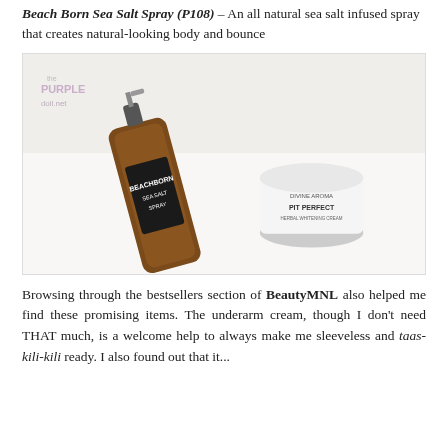Beach Born Sea Salt Spray (P108) – An all natural sea salt infused spray that creates natural-looking body and bounce
[Figure (photo): Photo of two beauty products: a dark amber bottle labeled 'BeachBorn Sea Salt Spray' and a white bottle labeled 'Pit Perfect'. The image has a 'the Purple doll.net' watermark in the upper left corner.]
Browsing through the bestsellers section of BeautyMNL also helped me find these promising items. The underarm cream, though I don't need THAT much, is a welcome help to always make me sleeveless and taas-kili-kili ready. I also found out that it...